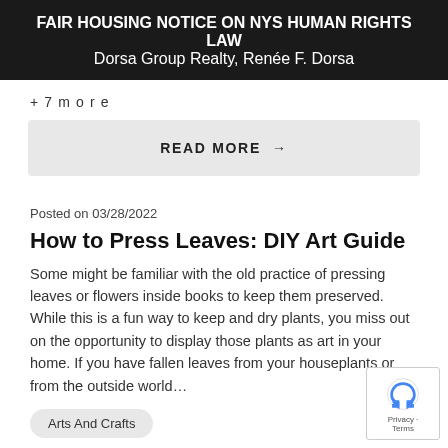FAIR HOUSING NOTICE ON NYS HUMAN RIGHTS LAW
Dorsa Group Realty, Renée F. Dorsa
+ 7 more
READ MORE →
Posted on 03/28/2022
How to Press Leaves: DIY Art Guide
Some might be familiar with the old practice of pressing leaves or flowers inside books to keep them preserved. While this is a fun way to keep and dry plants, you miss out on the opportunity to display those plants as art in your home. If you have fallen leaves from your houseplants or from the outside world...
Arts And Crafts